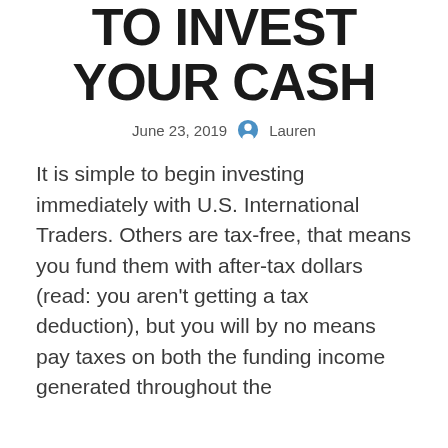TO INVEST YOUR CASH
June 23, 2019  Lauren
It is simple to begin investing immediately with U.S. International Traders. Others are tax-free, that means you fund them with after-tax dollars (read: you aren't getting a tax deduction), but you will by no means pay taxes on both the funding income generated throughout the